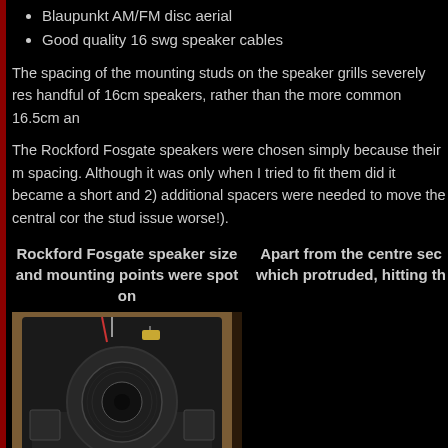Blaupunkt AM/FM disc aerial
Good quality 16 swg speaker cables
The spacing of the mounting studs on the speaker grills severely res handful of 16cm speakers, rather than the more common 16.5cm an
The Rockford Fosgate speakers were chosen simply because their m spacing. Although it was only when I tried to fit them did it became a short and 2) additional spacers were needed to move the central cor the stud issue worse!).
Rockford Fosgate speaker size and mounting points were spot on
Apart from the centre sec which protruded, hitting th
[Figure (photo): Photo of a Rockford Fosgate speaker showing back of speaker with cone visible, mounted in a black plastic enclosure with wiring visible]